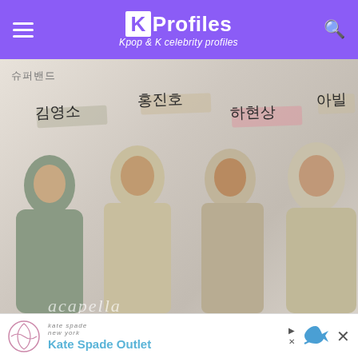KProfiles - Kpop & K celebrity profiles
[Figure (photo): K-pop group promotional photo showing four young Korean men standing together against a white/light background, with Korean name labels written in stylized brush script above each member: 김영소, 홍진호, 하현상, 아빌. The group name 슈퍼밴드 appears in the top left. The bottom shows partial cursive/script text. The four men wear casual to smart-casual outfits in muted tones.]
Kate Spade Outlet
Kate Spade Outlet advertisement